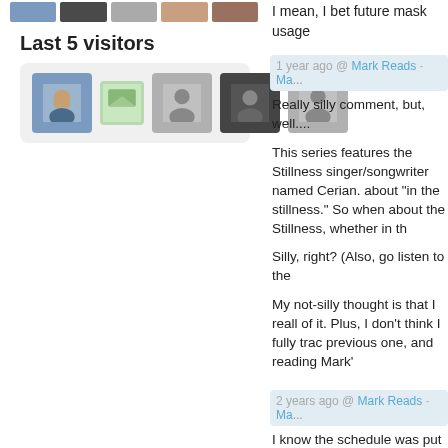[Figure (photo): Row of small avatar/profile photo thumbnails at top of left panel (partial, cropped from above)]
Last 5 visitors
[Figure (photo): Row of 5 visitor profile avatars: a man photo, a green image/badge, a grey silhouette, a dark photo, a grey silhouette]
I mean, I bet future mask usage
1 year ago @ Mark Reads - Ma...
Really silly comment, but, well....
This series features the Stillness singer/songwriter named Cerian. about "in the stillness." So when about the Stillness, whether in th
Silly, right? (Also, go listen to the
My not-silly thought is that I reall of it. Plus, I don't think I fully trac previous one, and reading Mark'
2 years ago @ Mark Reads - Ma...
I know the schedule was put into calendar. Or perhaps he didn't cl interlude is (spoiler alert!) in the
2 years ago @ Mark Reads - Ma...
I've got to say, to make sure her have happened with nearly as m